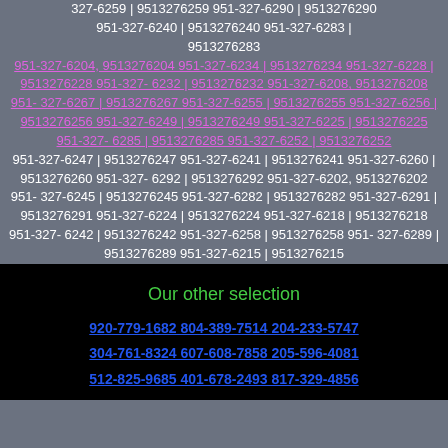327-6259 | 9513276259 951-327-6290 | 9513276290 951-327-6240 | 9513276240 951-327-6283 | 9513276283
951-327-6204, 9513276204 951-327-6234 | 9513276234 951-327-6228 | 9513276228 951-327-6232 | 9513276232 951-327-6208, 9513276208 951-327-6267 | 9513276267 951-327-6255 | 9513276255 951-327-6256 | 9513276256 951-327-6249 | 9513276249 951-327-6225 | 9513276225 951-327-6285 | 9513276285 951-327-6252 | 9513276252
951-327-6247 | 9513276247 951-327-6241 | 9513276241 951-327-6260 | 9513276260 951-327-6292 | 9513276292 951-327-6202, 9513276202 951-327-6245 | 9513276245 951-327-6282 | 9513276282 951-327-6291 | 9513276291 951-327-6224 | 9513276224 951-327-6218 | 9513276218 951-327-6242 | 9513276242 951-327-6258 | 9513276258 951-327-6289 | 9513276289 951-327-6215 | 9513276215
Our other selection
920-779-1682 804-389-7514 204-233-5747 304-761-8324 607-608-7858 205-596-4081 512-825-9685 401-678-2493 817-329-4856